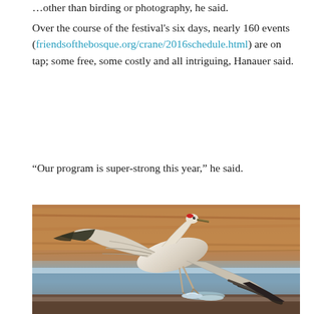… other than birding or photography, he said.
Over the course of the festival's six days, nearly 160 events (friendsofthebosque.org/crane/2016schedule.html) are on tap; some free, some costly and all intriguing, Hanauer said.
“Our program is super-strong this year,” he said.
[Figure (photo): A sandhill crane taking off from a shallow body of water, wings spread wide, against a blurred brown background of dry vegetation.]